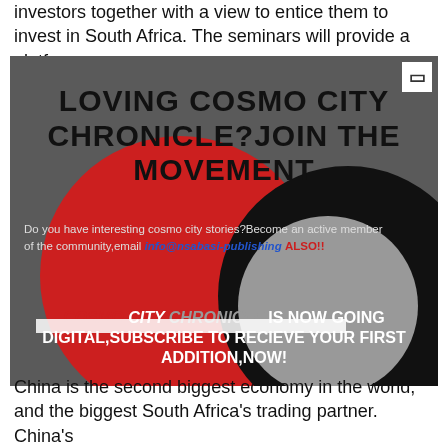investors together with a view to entice them to invest in South Africa. The seminars will provide a platform
[Figure (infographic): Cosmo City Chronicle advertisement banner with dark grey background, red and black circles. Title: LOVING COSMO CITY CHRONICLE?JOIN THE MOVEMENT. Body text about becoming active member and emailing info@nsabasi-publishing. Digital subscription call to action: COSMO CITY CHRONICLE IS NOW GOING DIGITAL, SUBSCRIBE TO RECIEVE YOUR FIRST ADDITION, NOW!]
China is the second biggest economy in the world, and the biggest South Africa's trading partner. China's